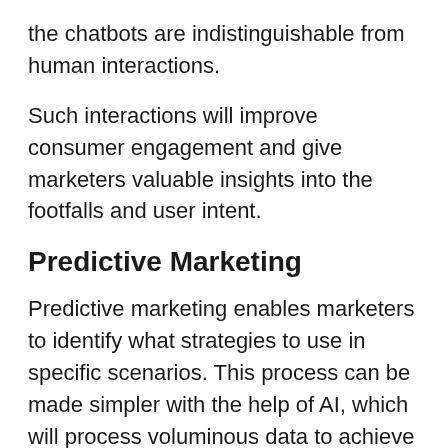the chatbots are indistinguishable from human interactions.
Such interactions will improve consumer engagement and give marketers valuable insights into the footfalls and user intent.
Predictive Marketing
Predictive marketing enables marketers to identify what strategies to use in specific scenarios. This process can be made simpler with the help of AI, which will process voluminous data to achieve insights that human computation can't, to identify the ideal marketing strategy. These insights will help in improving customer engagement, lowering marketing overheads, improving lead conversions, and increasing overall revenue.
Predictive marketing isn't exactly a new business practice. But with AI, a new level of personalization can